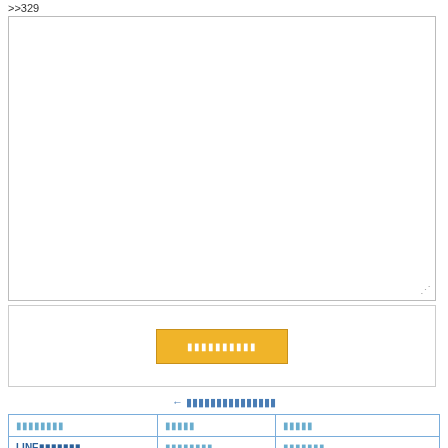>>329
[Figure (screenshot): A large textarea input box (white, with resize handle at bottom right)]
[Figure (screenshot): A section with a centered yellow/gold submit button containing Japanese placeholder text]
← (Japanese navigation link text)
| (Japanese col 1) | (Japanese col 2) | (Japanese col 3) |
| --- | --- | --- |
| LINE(Japanese text) | (Japanese text) | (Japanese text) |
| (Japanese text) | (Japanese text) | MHX(Japanese)TOP ▲ |